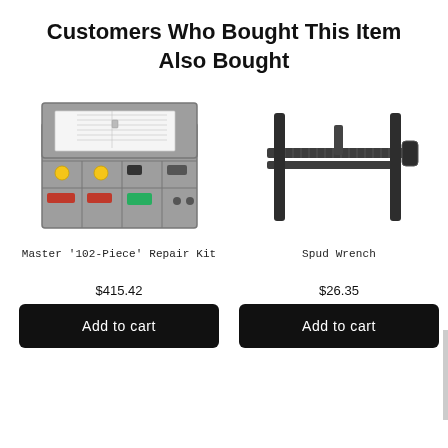Customers Who Bought This Item Also Bought
[Figure (photo): Master '102-Piece' Repair Kit — grey metal toolbox open showing compartments with various hardware pieces]
Master '102-Piece' Repair Kit
[Figure (photo): Spud Wrench — dark grey/black mechanical gear puller tool with two legs and threaded rod]
Spud Wrench
$415.42
Add to cart
$26.35
Add to cart